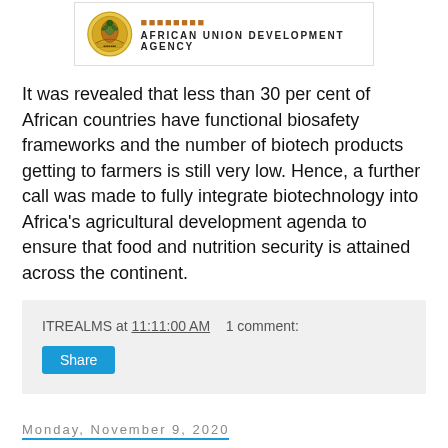[Figure (logo): African Union Development Agency logo with emblem and text 'AFRICAN UNION DEVELOPMENT AGENCY']
It was revealed that less than 30 per cent of African countries have functional biosafety frameworks and the number of biotech products getting to farmers is still very low. Hence, a further call was made to fully integrate biotechnology into Africa's agricultural development agenda to ensure that food and nutrition security is attained across the continent.
ITREALMS at 11:11:00 AM   1 comment:
Share
Monday, November 9, 2020
White Gold Series to debut November 12 - NaijaAgroNet ... Linking agrobiz,